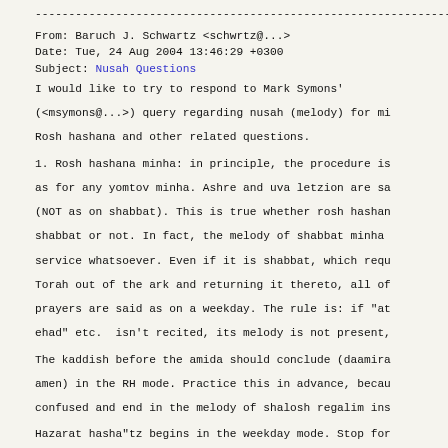-------------------------------------------------------------------------
From: Baruch J. Schwartz <schwrtz@...>
Date: Tue, 24 Aug 2004 13:46:29 +0300
Subject: Nusah Questions
I would like to try to respond to Mark Symons' (<msymons@...>) query regarding nusah (melody) for mi Rosh hashana and other related questions.
1. Rosh hashana minha: in principle, the procedure is as for any yomtov minha. Ashre and uva letzion are sa (NOT as on shabbat). This is true whether rosh hasha shabbat or not. In fact, the melody of shabbat minha service whatsoever. Even if it is shabbat, which req Torah out of the ark and returning it thereto, all o prayers are said as on a weekday. The rule is: if "a ehad" etc.  isn't recited, its melody is not present,
The kaddish before the amida should conclude (daamira amen) in the RH mode. Practice this in advance, beca confused and end in the melody of shalosh regalim ins
Hazarat hasha"tz begins in the weekday mode. Stop fo zochrenu and mi khamokha, repeat these in the weekda continue.  Melody changes to the RH mode at the end etc.) and continues in the RH mode until the end of h hasha"tz. Avinu malkenu is at shaharit.